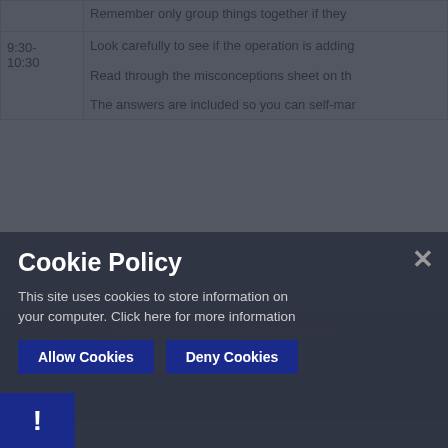| Time | Activity |
| --- | --- |
|  | Remember only group things together if they |
| 9:30-
10:30 | Look carefully to see if the operation is adding

Read through the misconceptions sheet on th

The answers are included so you can self-mar |
You have not allowed cookies and this
If you would like to view th
Cookie Policy
This site uses cookies to store information on your computer. Click here for more information
Allow Cookies
Deny Cookies